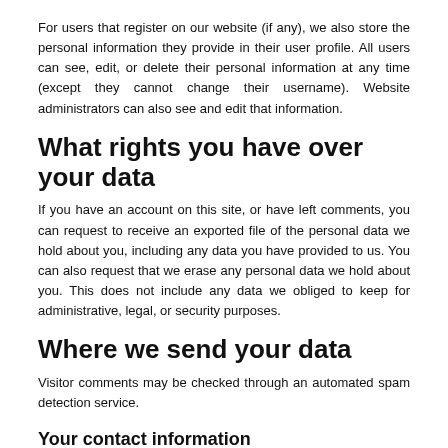For users that register on our website (if any), we also store the personal information they provide in their user profile. All users can see, edit, or delete their personal information at any time (except they cannot change their username). Website administrators can also see and edit that information.
What rights you have over your data
If you have an account on this site, or have left comments, you can request to receive an exported file of the personal data we hold about you, including any data you have provided to us. You can also request that we erase any personal data we hold about you. This does not include any data we obliged to keep for administrative, legal, or security purposes.
Where we send your data
Visitor comments may be checked through an automated spam detection service.
Your contact information
Additional information
How we protect your data
What data breach procedures we have in place